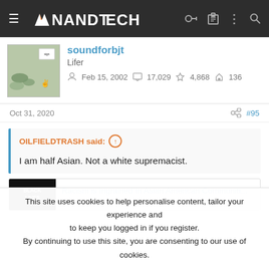AnandTech
soundforbjt
Lifer
Feb 15, 2002  17,029  4,868  136
Oct 31, 2020  #95
OILFIELDTRASH said: ↑
I am half Asian. Not a white supremacist.
Racism is Ingrained in Asian American Communiti...
This site uses cookies to help personalise content, tailor your experience and to keep you logged in if you register.
By continuing to use this site, you are consenting to our use of cookies.